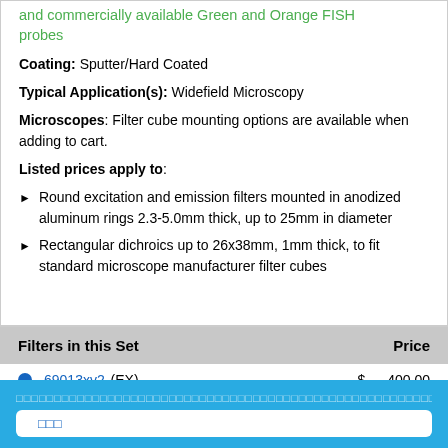and commercially available Green and Orange FISH probes
Coating: Sputter/Hard Coated
Typical Application(s): Widefield Microscopy
Microscopes: Filter cube mounting options are available when adding to cart.
Listed prices apply to:
Round excitation and emission filters mounted in anodized aluminum rings 2.3-5.0mm thick, up to 25mm in diameter
Rectangular dichroics up to 26x38mm, 1mm thick, to fit standard microscope manufacturer filter cubes
| Filters in this Set | Price |
| --- | --- |
| 69013xv2 (EX) | $ 400.00 |
| 69013bs (BS) | $ 375.00 |
Cookie settings button